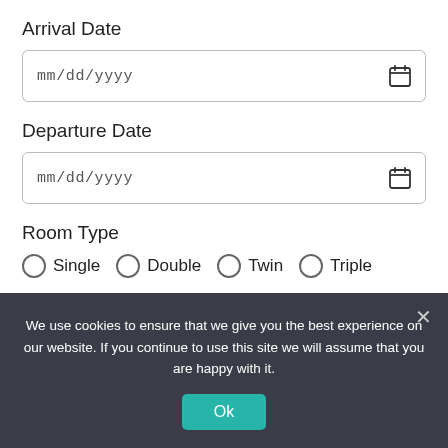Arrival Date
mm/dd/yyyy
Departure Date
mm/dd/yyyy
Room Type
Single
Double
Twin
Triple
Additional Information
Message
We use cookies to ensure that we give you the best experience on our website. If you continue to use this site we will assume that you are happy with it.
Ok